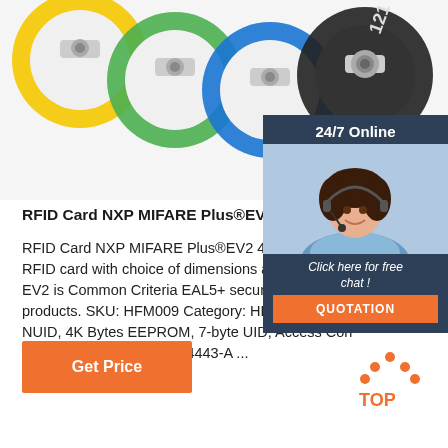[Figure (photo): RFID key fob rings in yellow, green, blue, and black colors with metallic connectors, close-up product photo]
[Figure (photo): Customer service agent woman wearing headset smiling, with '24/7 Online' header, 'Click here for free chat!' text and orange QUOTATION button]
RFID Card NXP MIFARE Plus®EV2 4k - RFID Card
RFID Card NXP MIFARE Plus®EV2 4k. Blank or cu RFID card with choice of dimensions available. The EV2 is Common Criteria EAL5+ security certified for products. SKU: HFM009 Category: HF 13.56MHz Ta NUID, 4K Bytes EEPROM, 7-byte UID, Access Con HF 13.56MHZ, ISO/IEC 14443-A ...
[Figure (other): Orange 'Get Price' button]
[Figure (other): TOP arrow logo in orange dots with 'TOP' text]